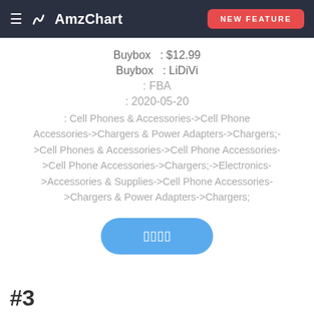AmzChart — NEW FEATURE
Buybox : $12.99
Buybox : LiDiVi
: FBA
: 2020-05-20
: Cell Phones & Accessories->Cell Phone Accessories->Chargers & Power Adapters->Chargers;->Cell Phones & Accessories->Cell Phone Accessories->Cell Phone Accessories->Chargers;->Electronics->Accessories & Supplies->Cell Phone Accessories->Chargers & Power Adapters->Chargers;
[Figure (other): Blue rounded button with white placeholder text/dots]
#3